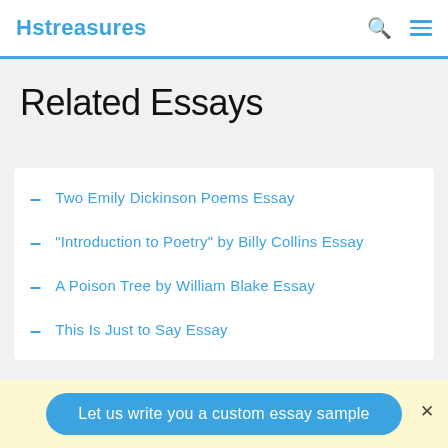Hstreasures
Related Essays
Two Emily Dickinson Poems Essay
"Introduction to Poetry" by Billy Collins Essay
A Poison Tree by William Blake Essay
This Is Just to Say Essay
Let us write you a custom essay sample